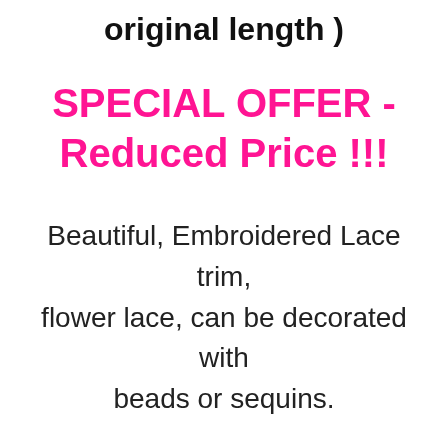original length )
SPECIAL OFFER - Reduced Price !!!
Beautiful, Embroidered Lace trim, flower lace, can be decorated with beads or sequins.
Item Description:
Polyester and nylon thread